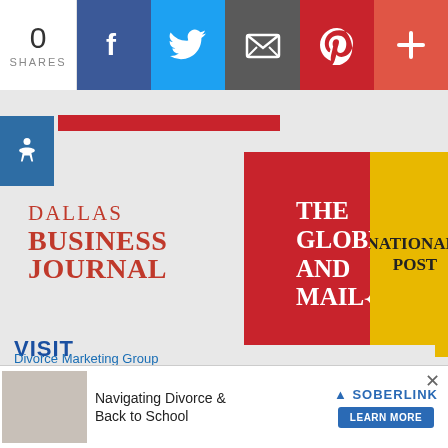[Figure (screenshot): Social share bar with 0 shares, Facebook, Twitter, Email, Pinterest, and plus buttons]
[Figure (logo): Dallas Business Journal logo in red serif text]
[Figure (logo): The Globe and Mail logo on red background in white bold serif text]
[Figure (logo): National Post logo on yellow background in black serif text]
[Figure (logo): The Huffington Post logo in teal serif capitals]
[Figure (logo): Wikipedia globe logo with text Wikipedia The Free Encyclopedia]
VISIT
[Figure (infographic): Advertisement: Navigating Divorce & Back to School - SOBERLINK LEARN MORE]
Divorce Marketing Group